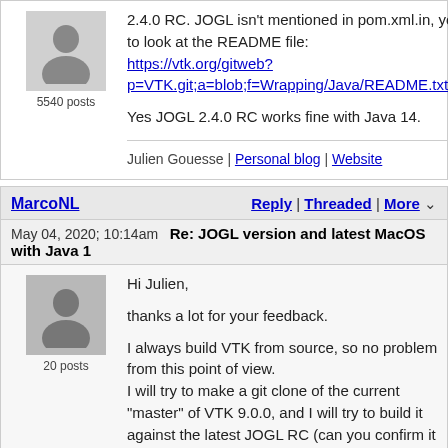5540 posts
2.4.0 RC. JOGL isn't mentioned in pom.xml.in, you'll have to look at the README file: https://vtk.org/gitweb?p=VTK.git;a=blob;f=Wrapping/Java/README.txt;hb=HEAD

Yes JOGL 2.4.0 RC works fine with Java 14.
Julien Gouesse | Personal blog | Website
MarcoNL
Reply | Threaded | More
May 04, 2020; 10:14am   Re: JOGL version and latest MacOS with Java 1
20 posts
Hi Julien,

thanks a lot for your feedback.

I always build VTK from source, so no problem from this point of view.
I will try to make a git clone of the current "master" of VTK 9.0.0, and I will try to build it against the latest JOGL RC (can you confirm it is the one I can find here? https://jogamp.org/deployment/archive/rc/v2.4.0-rc-20200307/).

I will let you know the outcome.